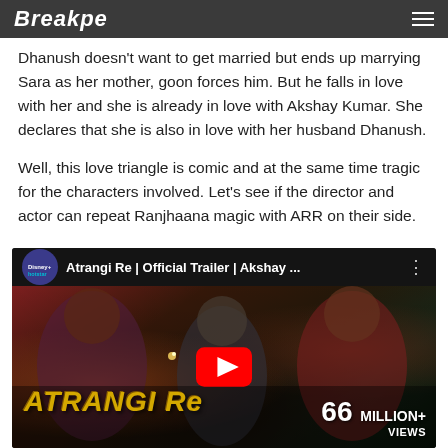Breakpe
Dhanush doesn't want to get married but ends up marrying Sara as her mother, goon forces him. But he falls in love with her and she is already in love with Akshay Kumar. She declares that she is also in love with her husband Dhanush.
Well, this love triangle is comic and at the same time tragic for the characters involved. Let's see if the director and actor can repeat Ranjhaana magic with ARR on their side.
Movie is releasing as Galatta Kalyanam in Tamil.
[Figure (screenshot): YouTube video thumbnail for 'Atrangi Re | Official Trailer | Akshay ...' showing movie characters, with YouTube play button, Disney+ Hotstar logo, and text showing 66 MILLION+ VIEWS. Bottom left shows 'ATRANGI RE' text in golden/orange stylized font.]